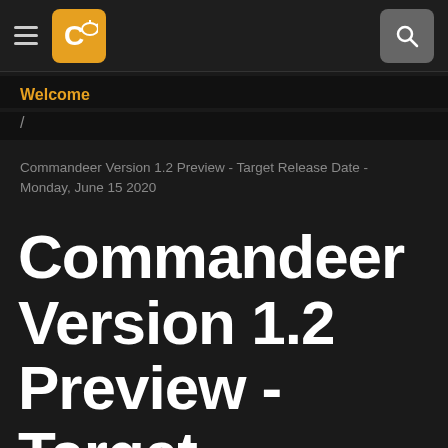Commandeer logo and navigation bar with hamburger menu and search icon
Welcome
/
Commandeer Version 1.2 Preview - Target Release Date - Monday, June 15 2020
Commandeer Version 1.2 Preview - Target Release Date - Monday, June 15